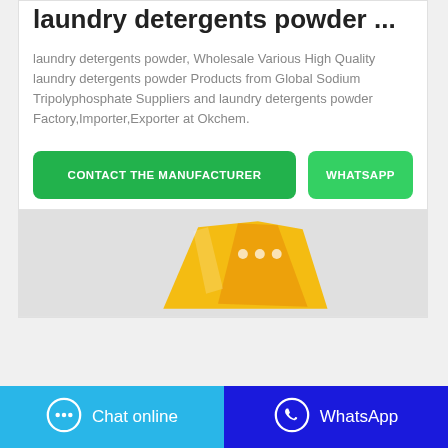laundry detergents powder ...
laundry detergents powder, Wholesale Various High Quality laundry detergents powder Products from Global Sodium Tripolyphosphate Suppliers and laundry detergents powder Factory,Importer,Exporter at Okchem.
[Figure (other): Two call-to-action buttons: 'CONTACT THE MANUFACTURER' (green) and 'WHATSAPP' (lighter green)]
[Figure (photo): Product image of a yellow laundry detergent powder bag on a grey background]
[Figure (other): Bottom navigation bar with 'Chat online' button (blue with chat icon) and 'WhatsApp' button (dark blue with WhatsApp icon)]